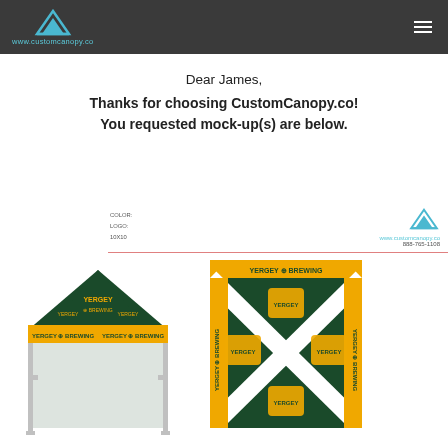www.customcanopy.co
Dear James,
Thanks for choosing CustomCanopy.co!
You requested mock-up(s) are below.
[Figure (illustration): Custom canopy tent mockup for Yergey Brewing, showing a 10x10 green and yellow branded tent from side view and top-down view. Color, Logo, 10x10 specifications shown. CustomCanopy.co logo and contact info: www.customcanopy.co, 888-765-1108.]